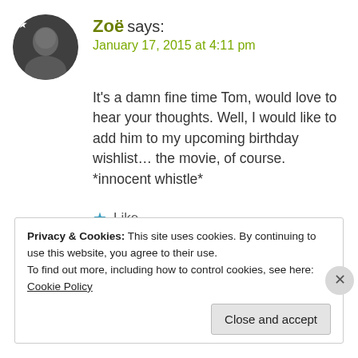Zoë says: January 17, 2015 at 4:11 pm
It's a damn fine time Tom, would love to hear your thoughts. Well, I would like to add him to my upcoming birthday wishlist… the movie, of course. *innocent whistle*
Like
Reply
Privacy & Cookies: This site uses cookies. By continuing to use this website, you agree to their use. To find out more, including how to control cookies, see here: Cookie Policy
Close and accept